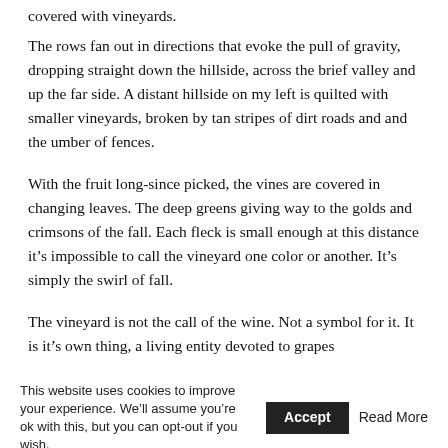covered with vineyards.
The rows fan out in directions that evoke the pull of gravity, dropping straight down the hillside, across the brief valley and up the far side. A distant hillside on my left is quilted with smaller vineyards, broken by tan stripes of dirt roads and and the umber of fences.
With the fruit long-since picked, the vines are covered in changing leaves. The deep greens giving way to the golds and crimsons of the fall. Each fleck is small enough at this distance it’s impossible to call the vineyard one color or another. It’s simply the swirl of fall.
The vineyard is not the call of the wine. Not a symbol for it. It is it’s own thing, a living entity devoted to grapes
This website uses cookies to improve your experience. We’ll assume you’re ok with this, but you can opt-out if you wish.